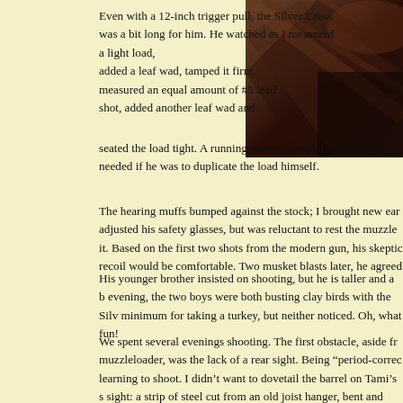[Figure (photo): Close-up photo of a dark brown wooden gun stock or barrel, upper right corner of the page]
Even with a 12-inch trigger pull, the Silver Cross was a bit long for him. He watched as I measured a light load, added a leaf wad, tamped it firm, measured an equal amount of #5 lead shot, added another leaf wad and seated the load tight. A running narrative explained the loading needed if he was to duplicate the load himself.
The hearing muffs bumped against the stock; I brought new ear adjusted his safety glasses, but was reluctant to rest the muzzle it. Based on the first two shots from the modern gun, his skeptic recoil would be comfortable. Two musket blasts later, he agreed
His younger brother insisted on shooting, but he is taller and a b evening, the two boys were both busting clay birds with the Silv minimum for taking a turkey, but neither noticed. Oh, what fun!
We spent several evenings shooting. The first obstacle, aside fr muzzleloader, was the lack of a rear sight. Being "period-correc learning to shoot. I didn't want to dovetail the barrel on Tami's s sight: a strip of steel cut from an old joist hanger, bent and notch That addition made a huge difference in shot placement, both fo